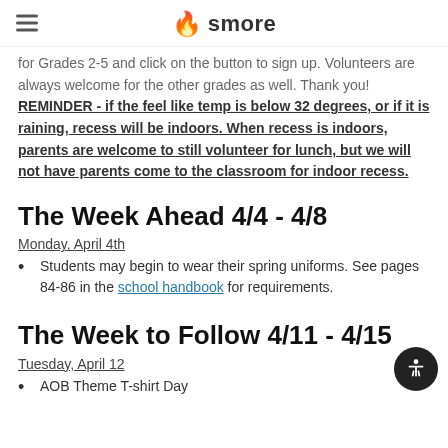smore
for Grades 2-5 and click on the button to sign up. Volunteers are always welcome for the other grades as well. Thank you! REMINDER - if the feel like temp is below 32 degrees, or if it is raining, recess will be indoors. When recess is indoors, parents are welcome to still volunteer for lunch, but we will not have parents come to the classroom for indoor recess.
The Week Ahead 4/4 - 4/8
Monday, April 4th
Students may begin to wear their spring uniforms. See pages 84-86 in the school handbook for requirements.
The Week to Follow 4/11 - 4/15
Tuesday, April 12
AOB Theme T-shirt Day